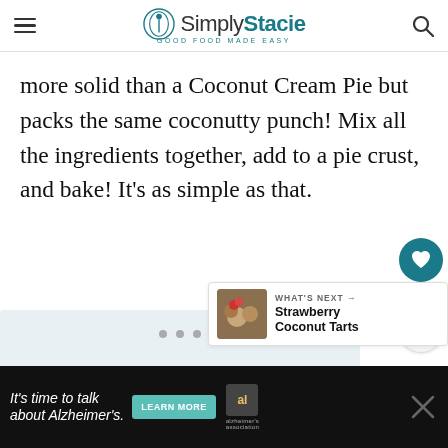Simply Stacie — Good Food Made Easy
more solid than a Coconut Cream Pie but packs the same coconutty punch! Mix all the ingredients together, add to a pie crust, and bake! It's as simple as that.
[Figure (other): Image carousel placeholder area with navigation dots]
[Figure (other): What's Next widget: Strawberry Coconut Tarts with thumbnail image]
[Figure (other): Advertisement banner: It's time to talk about Alzheimer's. Learn More button with Alzheimer's Association logo]